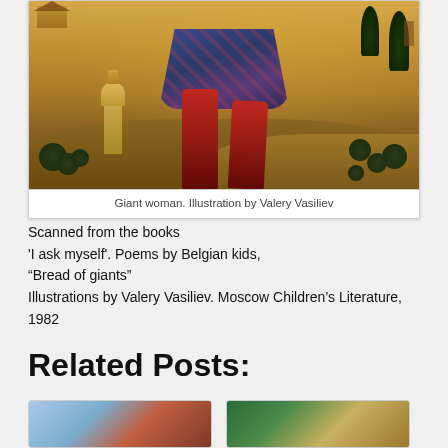[Figure (illustration): Painting of a giant woman in colorful patterned dress with red boots, standing in a folk-art landscape with trees, a church tower, and rolling hills.]
Giant woman. Illustration by Valery Vasiliev
Scanned from the books
'I ask myself'. Poems by Belgian kids,
“Bread of giants”
Illustrations by Valery Vasiliev. Moscow Children’s Literature, 1982
Related Posts:
[Figure (illustration): Small thumbnail of an illustration showing a girl figure by water.]
[Figure (illustration): Small thumbnail of an illustration showing an open book with a bird or animal.]